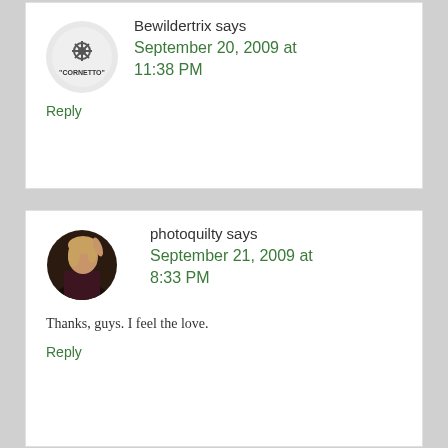[Figure (illustration): Avatar for Bewildertrix: circular gray background with 'CORNETTO' logo/text illustration]
Bewildertrix says
September 20, 2009 at 11:38 PM
Reply
[Figure (photo): Avatar for photoquilty: circular photo of a woman with light hair, posed with hand raised]
photoquilty says
September 21, 2009 at 8:33 PM
Thanks, guys. I feel the love.
Reply